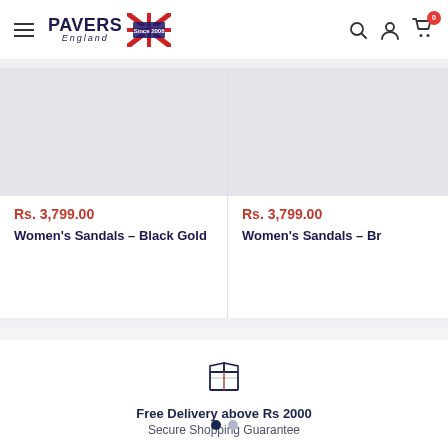[Figure (logo): Pavers England logo with UK flag badge and 'Since 2008' text, along with hamburger menu and icons for search, account, and cart (badge showing 0)]
[Figure (photo): Women's Sandals Black Gold product card showing price Rs. 3,799.00]
[Figure (photo): Women's Sandals Brown (partially visible) product card showing price Rs. 3,799.00]
[Figure (illustration): Package/box icon for delivery information]
Free Delivery above Rs 2000
Secure Shopping Guarantee